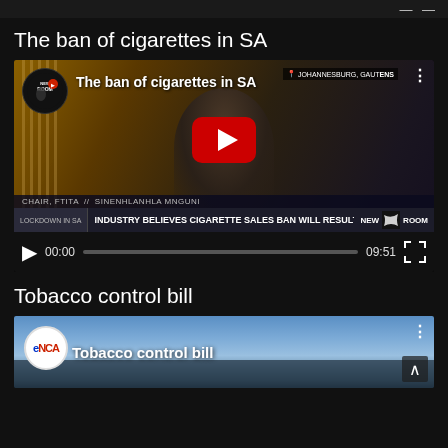The ban of cigarettes in SA
[Figure (screenshot): YouTube video player showing 'The ban of cigarettes in SA' news segment from New Room Africa, featuring FTITA Chair Sinenhlanhla Mnguni in Johannesburg, Gauteng. Lower third reads 'INDUSTRY BELIEVES CIGARETTE SALES BAN WILL RESULT IN'. Video time shows 00:00 / 09:51.]
Tobacco control bill
[Figure (screenshot): eNCA YouTube video thumbnail showing 'Tobacco control bill' with cityscape background.]